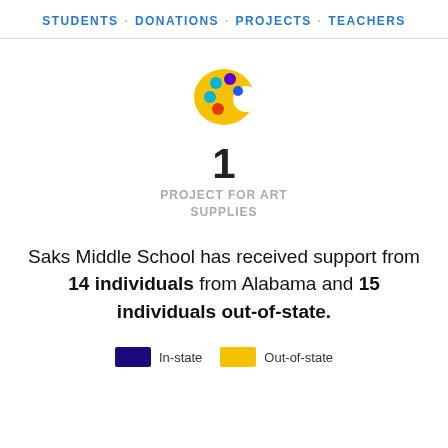STUDENTS · DONATIONS · PROJECTS · TEACHERS
[Figure (illustration): Art palette emoji icon — yellow palette shape with colored dots: teal, purple, cyan, orange, blue]
1
PROJECT FOR ART SUPPLIES
Saks Middle School has received support from 14 individuals from Alabama and 15 individuals out-of-state.
In-state   Out-of-state